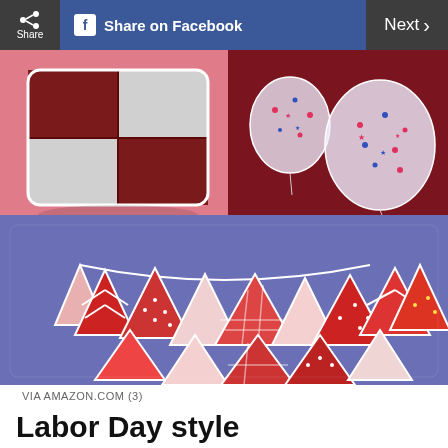Share  Share on Facebook  Next >
[Figure (photo): Collage of Labor Day themed products: top-left shows a red and white buffalo check plaid pillow on pink background, top-right shows clear confetti balloons with red, white and blue star confetti on dark red background, bottom shows a red and white bunting banner with patterned fabric triangles on blue/periwinkle background]
VIA AMAZON.COM (3)
Labor Day style